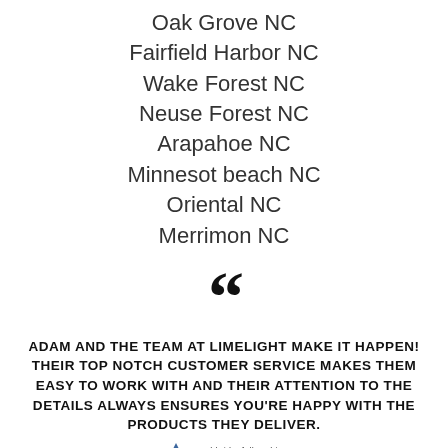Oak Grove NC
Fairfield Harbor NC
Wake Forest NC
Neuse Forest NC
Arapahoe NC
Minnesot beach NC
Oriental NC
Merrimon NC
[Figure (illustration): Large opening double quotation mark symbol in black]
ADAM AND THE TEAM AT LIMELIGHT MAKE IT HAPPEN! THEIR TOP NOTCH CUSTOMER SERVICE MAKES THEM EASY TO WORK WITH AND THEIR ATTENTION TO THE DETAILS ALWAYS ENSURES YOU'RE HAPPY WITH THE PRODUCTS THEY DELIVER.
[Figure (logo): Southbridge Fellowship logo with blue triangle/sail icon and text 'southbridgefellowship']